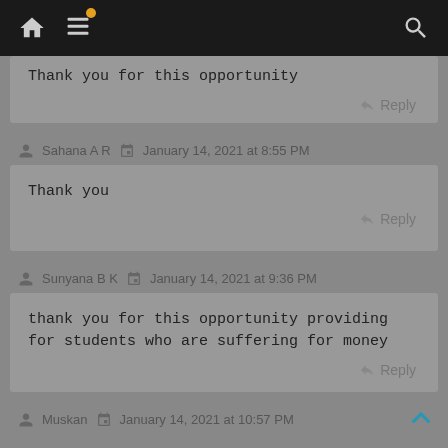Navigation bar with home icon, menu icon with notification dot, and search icon
Thank you for this opportunity
Reply
Sahana A R   January 14, 2021 at 8:55 PM
Thank you
Reply
Sunyana B K   January 14, 2021 at 9:36 PM
thank you for this opportunity providing for students who are suffering for money
Reply
Muskan   January 14, 2021 at 10:57 PM